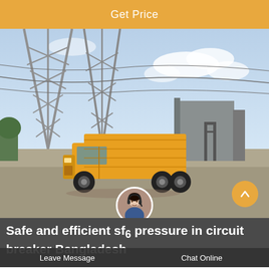Get Price
[Figure (photo): An orange delivery/utility truck parked in front of an industrial facility with large metal lattice towers/structures (possibly electrical substation or industrial plant) in the background. The truck has a yellow box body. The sky is partly cloudy.]
Safe and efficient sf6 pressure in circuit breaker Bangladesh
Leave Message   Chat Online